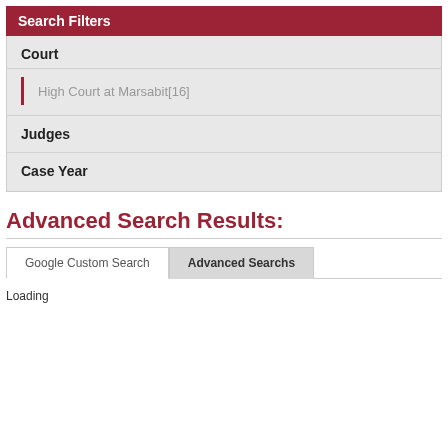Search Filters
Court
High Court at Marsabit[16]
Judges
Case Year
Advanced Search Results:
Google Custom Search
Advanced Searchs
Loading